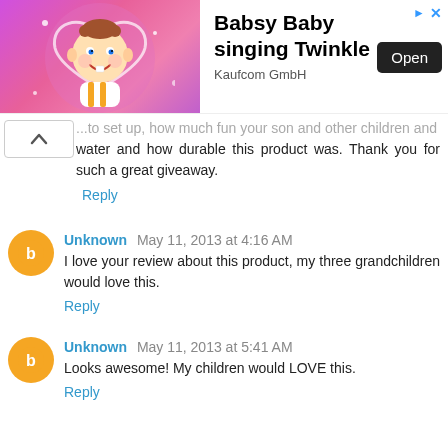[Figure (other): Advertisement banner for 'Babsy Baby singing Twinkle' by Kaufcom GmbH, featuring a cartoon baby with an Open button]
...to set up, how much fun your son and other children and water and how durable this product was. Thank you for such a great giveaway.
Reply
Unknown May 11, 2013 at 4:16 AM
I love your review about this product, my three grandchildren would love this.
Reply
Unknown May 11, 2013 at 5:41 AM
Looks awesome! My children would LOVE this.
Reply